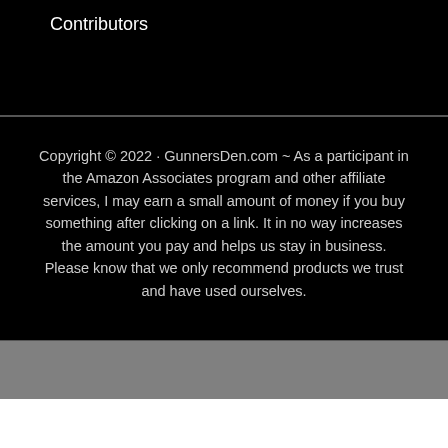Contributors
Copyright © 2022 · GunnersDen.com ~ As a participant in the Amazon Associates program and other affiliate services, I may earn a small amount of money if you buy something after clicking on a link. It in no way increases the amount you pay and helps us stay in business. Please know that we only recommend products we trust and have used ourselves.